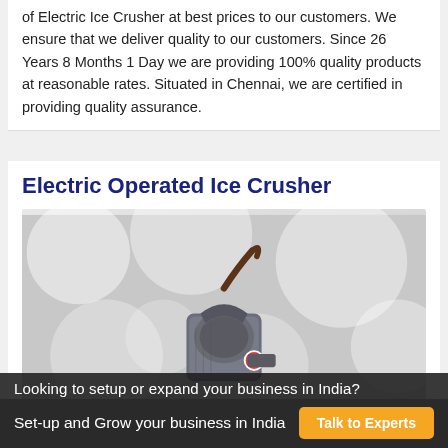of Electric Ice Crusher at best prices to our customers. We ensure that we deliver quality to our customers. Since 26 Years 8 Months 1 Day we are providing 100% quality products at reasonable rates. Situated in Chennai, we are certified in providing quality assurance.
Electric Operated Ice Crusher
[Figure (photo): Photo of an electric operated ice crusher machine — a compact metallic device with a handle/lever on top, against a blurred bokeh light background.]
Looking to setup or expand your business in India?
Set-up and Grow your business in India   Talk to Experts